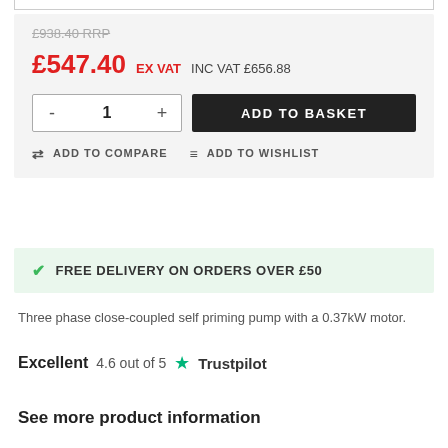£938.40 RRP
£547.40 EX VAT  INC VAT £656.88
- 1 +  ADD TO BASKET
ADD TO COMPARE  ADD TO WISHLIST
FREE DELIVERY ON ORDERS OVER £50
Three phase close-coupled self priming pump with a 0.37kW motor.
Excellent  4.6 out of 5  Trustpilot
See more product information